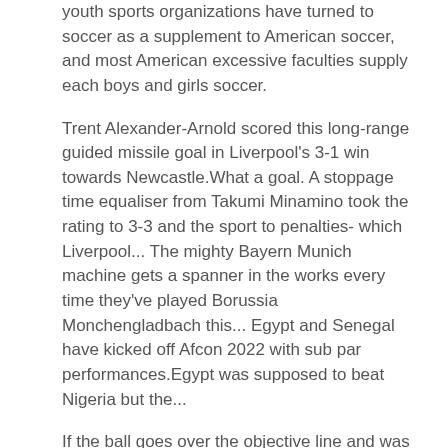youth sports organizations have turned to soccer as a supplement to American soccer, and most American excessive faculties supply each boys and girls soccer.
Trent Alexander-Arnold scored this long-range guided missile goal in Liverpool's 3-1 win towards Newcastle.What a goal. A stoppage time equaliser from Takumi Minamino took the rating to 3-3 and the sport to penalties- which Liverpool... The mighty Bayern Munich machine gets a spanner in the works every time they've played Borussia Monchengladbach this... Egypt and Senegal have kicked off Afcon 2022 with sub par performances.Egypt was supposed to beat Nigeria but the...
If the ball goes over the objective line and was final touched by the defending team, the ball goes to the closest objective line nook and turns into a corner kick, with possession going to the attacking team. One staff starts the game by profitable the coin toss to choose a aspect, the opposite staff will get to kick off. Teams change sides at halftime and the staff who didn't kick off does so in the 2nd half. The goalie protects the 18-